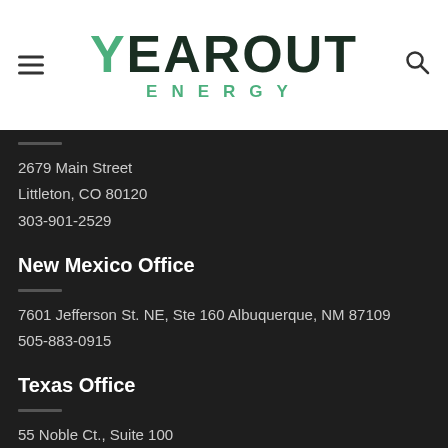[Figure (logo): Yearout Energy logo with hamburger menu icon on left and search icon on right]
2679 Main Street
Littleton, CO 80120
303-901-2529
New Mexico Office
7601 Jefferson St. NE, Ste 160 Albuquerque, NM 87109
505-883-0915
Texas Office
55 Noble Ct., Suite 100